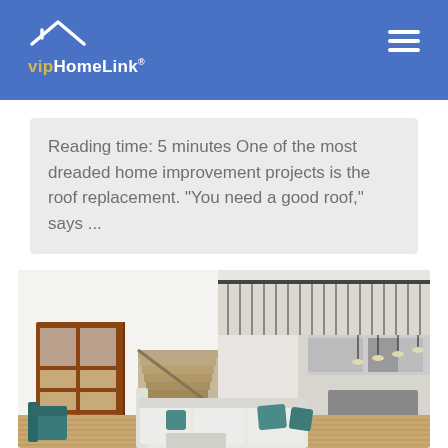vipHomeLink
Reading time: 5 minutes One of the most dreaded home improvement projects is the roof replacement. “You need a good roof,” says ...
[Figure (photo): Modern open-plan home interior showing a two-story foyer with wooden double doors, staircase, white walls, and kitchen area visible in the background. Living room with white sectional sofa and teal accent pillows in the foreground.]